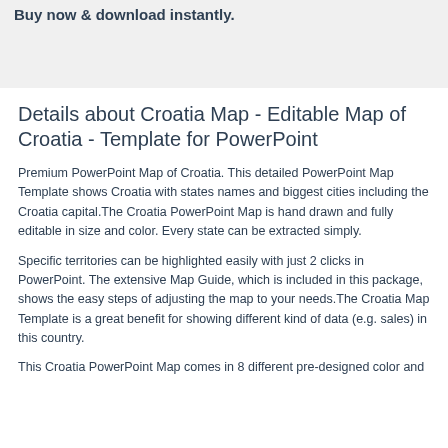Buy now & download instantly.
Details about Croatia Map - Editable Map of Croatia - Template for PowerPoint
Premium PowerPoint Map of Croatia. This detailed PowerPoint Map Template shows Croatia with states names and biggest cities including the Croatia capital.The Croatia PowerPoint Map is hand drawn and fully editable in size and color. Every state can be extracted simply.
Specific territories can be highlighted easily with just 2 clicks in PowerPoint. The extensive Map Guide, which is included in this package, shows the easy steps of adjusting the map to your needs.The Croatia Map Template is a great benefit for showing different kind of data (e.g. sales) in this country.
This Croatia PowerPoint Map comes in 8 different pre-designed color and